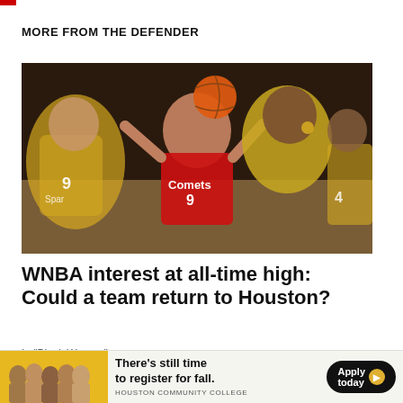MORE FROM THE DEFENDER
[Figure (photo): WNBA basketball game action photo: a player in a red Houston Comets jersey number 9 drives to the basket while being defended by players in yellow Sparks jerseys]
WNBA interest at all-time high: Could a team return to Houston?
In "Black Women"
[Figure (photo): Houston Community College advertisement banner: group of students photo on yellow background with text 'There's still time to register for fall.' and Apply today button]